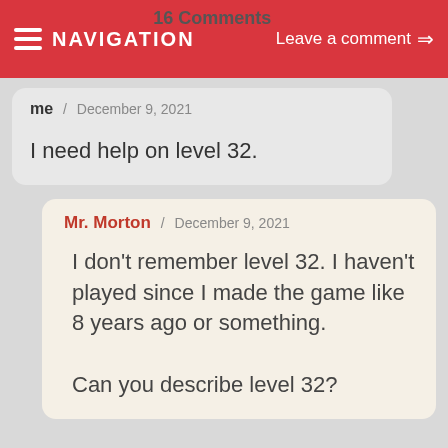NAVIGATION | 16 Comments | Leave a comment →
me / December 9, 2021
I need help on level 32.
Mr. Morton / December 9, 2021
I don't remember level 32. I haven't played since I made the game like 8 years ago or something.

Can you describe level 32?